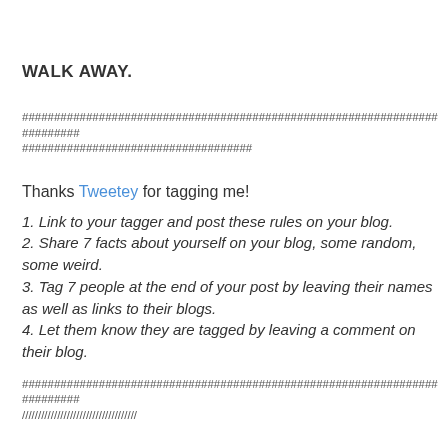WALK AWAY.
##########################################################################
####################################
Thanks Tweetey for tagging me!
1. Link to your tagger and post these rules on your blog.
2. Share 7 facts about yourself on your blog, some random, some weird.
3. Tag 7 people at the end of your post by leaving their names as well as links to their blogs.
4. Let them know they are tagged by leaving a comment on their blog.
##########################################################################
////////////////////////////////////